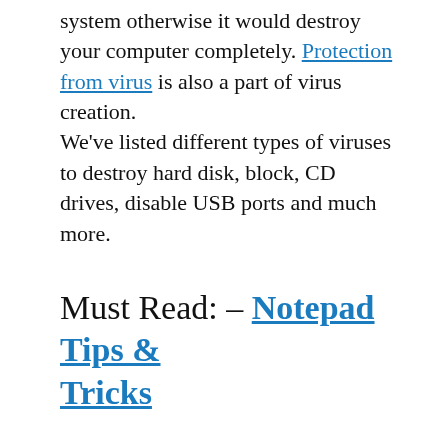system otherwise it would destroy your computer completely. Protection from virus is also a part of virus creation. We've listed different types of viruses to destroy hard disk, block, CD drives, disable USB ports and much more.
Must Read: – Notepad Tips & Tricks
1. Make A Virus To Delete Hard Drive
Open your notepad.
Copy the code given below and paste it in your notepad